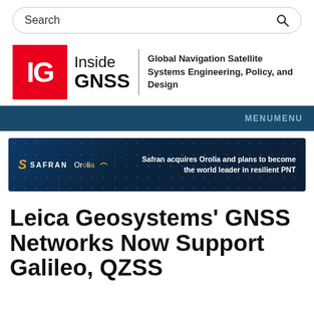Search
[Figure (logo): Inside GNSS logo with red IG box, Inside GNSS text, and tagline: Global Navigation Satellite Systems Engineering, Policy, and Design]
MENUMENU
[Figure (screenshot): Safran Orolia advertisement banner: Safran acquires Orolia and plans to become the world leader in resilient PNT]
Leica Geosystems’ GNSS Networks Now Support Galileo, QZSS